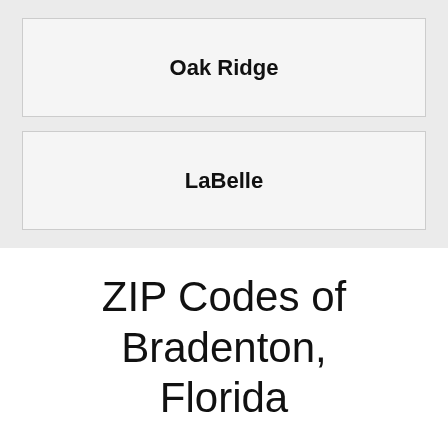| Oak Ridge |
| LaBelle |
ZIP Codes of Bradenton, Florida